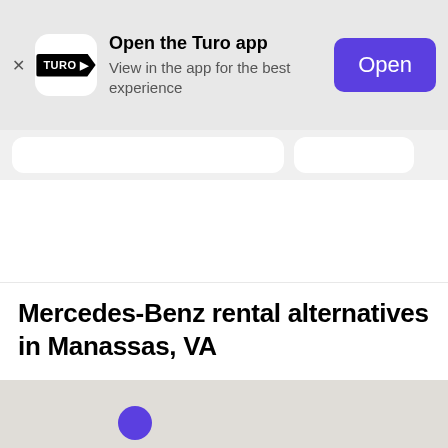[Figure (screenshot): Turo app install banner with logo, text 'Open the Turo app / View in the app for the best experience', and a purple 'Open' button]
Mercedes-Benz rental alternatives in Manassas, VA
[Figure (map): Light gray map with a single purple circular marker dot near Manassas, VA area]